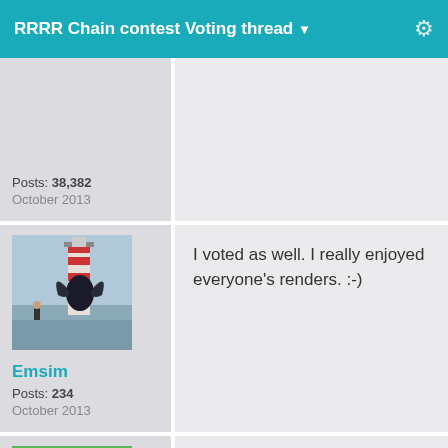RRRR Chain contest Voting thread
Posts: 38,382
October 2013
[Figure (photo): Avatar image showing a fantasy/digital art scene with a winged dark creature and a figure near a lighthouse]
Emsim
Posts: 234
October 2013
I voted as well. I really enjoyed everyone's renders. :-)
[Figure (illustration): Green square avatar with a red circle containing a yellow face logo]
voted, so many were so close it was hard to decide their order